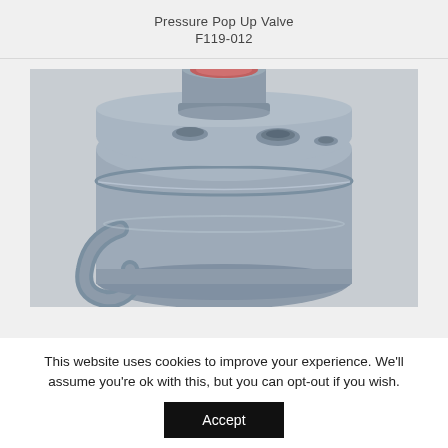Pressure Pop Up Valve
F119-012
[Figure (photo): Close-up photograph of a grey pressure pop up valve / tank component. The grey cylindrical vessel has a circular port opening at the top center (with red/pink interior visible), additional smaller circular ports on the upper surface, and a handle/bracket visible at the lower left. The background is light grey.]
This website uses cookies to improve your experience. We'll assume you're ok with this, but you can opt-out if you wish.
Accept